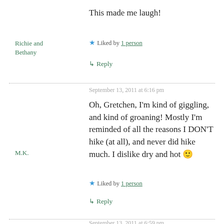This made me laugh!
Richie and Bethany
★ Liked by 1 person
↳ Reply
September 13, 2011 at 6:16 pm
M.K.
Oh, Gretchen, I'm kind of giggling, and kind of groaning! Mostly I'm reminded of all the reasons I DON'T hike (at all), and never did hike much. I dislike dry and hot 🙂
★ Liked by 1 person
↳ Reply
September 13, 2011 at 6:59 pm